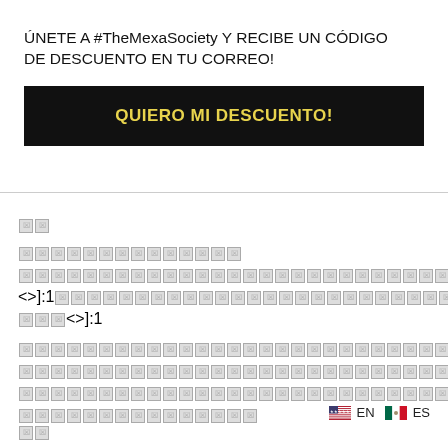ÚNETE A #TheMexaSociety Y RECIBE UN CÓDIGO DE DESCUENTO EN TU CORREO!
QUIERO MI DESCUENTO!
[tofu characters] - unrenderable content blocks
[Figure (other): US and Mexican flag icons with EN and ES language selectors]